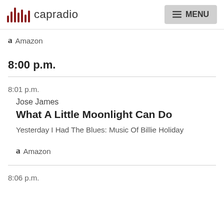capradio MENU
Amazon
8:00 p.m.
8:01 p.m.
Jose James
What A Little Moonlight Can Do
Yesterday I Had The Blues: Music Of Billie Holiday
Amazon
8:06 p.m.